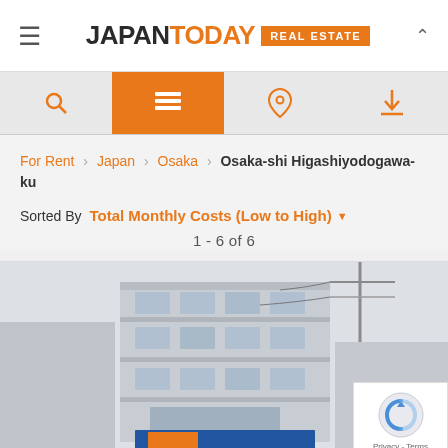JAPAN TODAY REAL ESTATE
For Rent › Japan › Osaka › Osaka-shi Higashiyodogawa-ku
Sorted By Total Monthly Costs (Low to High)
1 - 6 of 6
[Figure (photo): Exterior photo of a multi-story apartment building in Japan, with a blue storefront sign at the bottom showing Japanese characters. Power lines visible in background. Building appears to be 3-4 stories tall with white and gray facade.]